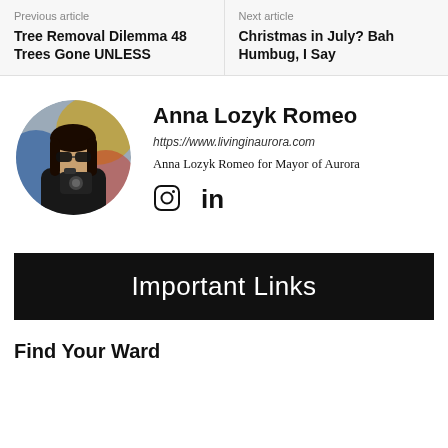Previous article
Tree Removal Dilemma 48 Trees Gone UNLESS
Next article
Christmas in July? Bah Humbug, I Say
[Figure (photo): Circular profile photo of Anna Lozyk Romeo holding a camera, wearing sunglasses and a black leather jacket, with a colorful background.]
Anna Lozyk Romeo
https://www.livinginaurora.com
Anna Lozyk Romeo for Mayor of Aurora
Instagram and LinkedIn social icons
Important Links
Find Your Ward